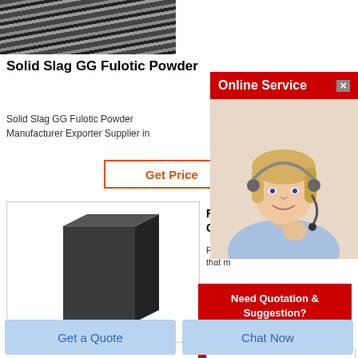[Figure (photo): Close-up of diagonal metal/industrial bars or fins with dark and light stripes]
Solid Slag GG Fulotic Powder
Solid Slag GG Fulotic Powder Manufacturer Exporter Supplier in
[Figure (other): Get Price button with orange border and text]
[Figure (photo): Dark grey/black rectangular solid block product image]
Refr... Cas...
Refra... that r...
[Figure (screenshot): Online Service popup with red header bar, close button, and photo of blonde female customer service agent wearing headset]
[Figure (infographic): Need Quotation & Suggestion popup with red background, gold Free Chat button]
Get a Quote
Chat Now